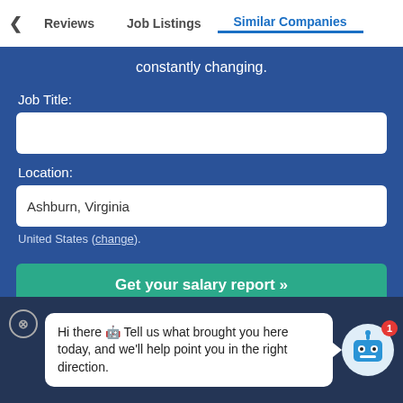Reviews | Job Listings | Similar Companies
constantly changing.
Job Title:
Location:
Ashburn, Virginia
United States (change).
Get your salary report »
Hi there 🤖 Tell us what brought you here today, and we'll help point you in the right direction.